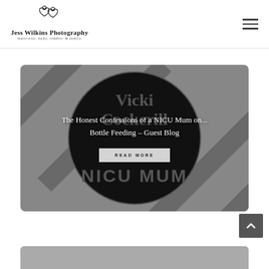[Figure (logo): Jess Wilkins Photography logo with two heart/swirl figures above text. Text reads 'Jess Wilkins Photography' with subtitle 'maternity, baby, toddler & family']
[Figure (photo): Dark/black blog post feature image with circular NICU Mum badge design by Vicki Cockerill, overlaid with blog post title and Read More button]
The Honest Confessions of a NICU Mum on... Bottle Feeding – Guest Blog
[Figure (other): Scroll to top button (arrow up) in dark gray]